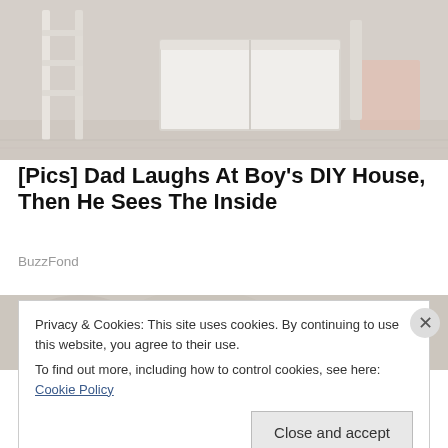[Figure (photo): Photo of a DIY wooden structure/playhouse under construction, showing ladder-like frames and wooden boards in a workshop or garage setting]
[Pics] Dad Laughs At Boy's DIY House, Then He Sees The Inside
BuzzFond
[Figure (photo): Partial photo of another image, cut off by cookie consent banner]
Privacy & Cookies: This site uses cookies. By continuing to use this website, you agree to their use.
To find out more, including how to control cookies, see here: Cookie Policy
Close and accept